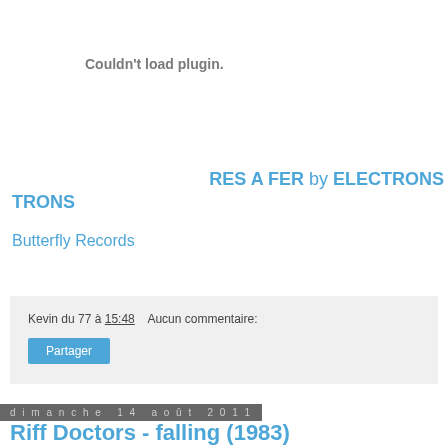[Figure (other): Plugin placeholder area showing 'Couldn't load plugin.' message]
RES A FER by ELECTRONS
Butterfly Records
Kevin du 77 à 15:48    Aucun commentaire:
Partager
dimanche 14 août 2011
Riff Doctors - falling (1983)